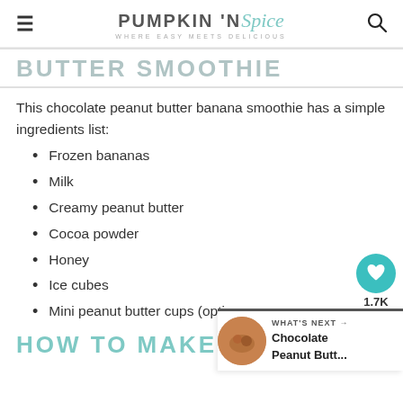PUMPKIN 'N Spice — WHERE EASY MEETS DELICIOUS
BUTTER SMOOTHIE (partial, cut off at top)
This chocolate peanut butter banana smoothie has a simple ingredients list:
Frozen bananas
Milk
Creamy peanut butter
Cocoa powder
Honey
Ice cubes
Mini peanut butter cups (opti...
HOW TO MAKE A